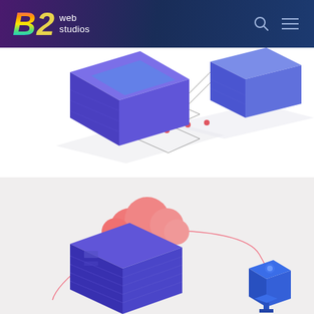[Figure (logo): B2 Web Studios logo with colorful stylized B and yellow 2, white text 'web studios' on dark navy/purple header bar with search and menu icons]
[Figure (illustration): Isometric illustration of purple/blue 3D server or data blocks connected by lines with red dotted connection paths on white background]
[Figure (illustration): Isometric illustration of blue server rack with pink cloud on top connected by coral/pink curved line to a blue tower/pedestal on light gray background]